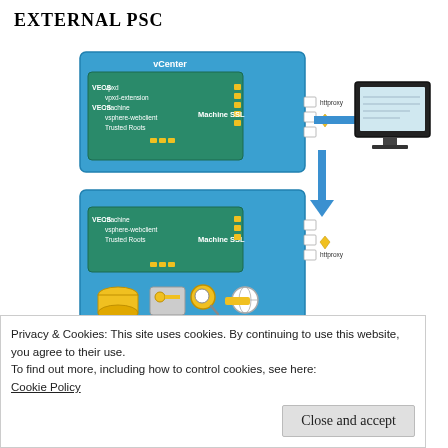EXTERNAL PSC
[Figure (engineering-diagram): Architecture diagram showing vCenter server (top blue box) with VECS components (vpxd, vpxd-extension, machine, vsphere-webclient) and Machine SSL certificate, connected via httprexy to an external computer/monitor. Below is a PSC server (bottom teal box) with VECS components (machine, vsphere-webclient, Trusted Roots) and Machine SSL, also with httproxy label, plus PSC service icons at the bottom.]
In this diagram, you will create the certificates
Privacy & Cookies: This site uses cookies. By continuing to use this website, you agree to their use.
To find out more, including how to control cookies, see here:
Cookie Policy
Close and accept